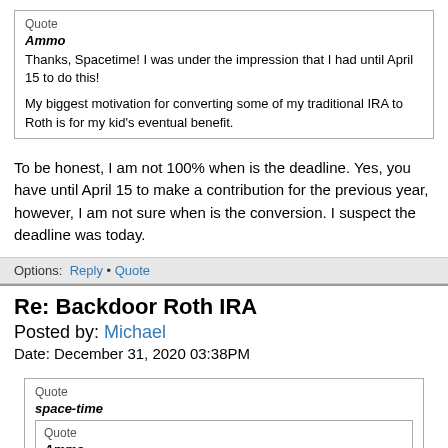Quote
Ammo
Thanks, Spacetime! I was under the impression that I had until April 15 to do this!

My biggest motivation for converting some of my traditional IRA to Roth is for my kid’s eventual benefit.
To be honest, I am not 100% when is the deadline. Yes, you have until April 15 to make a contribution for the previous year, however, I am not sure when is the conversion. I suspect the deadline was today.
Options:  Reply • Quote
Re: Backdoor Roth IRA
Posted by: Michael
Date: December 31, 2020 03:38PM
Quote
space-time
Quote
Ammo
Thanks, Spacetime! I was under the impression that I had until April 15 to do this!

My biggest motivation for converting some of my traditional IRA to Roth is for my kid’s eventual benefit.

To be honest, I am not 100% when is the deadline. Yes, you have until April 15 to make a contribution for the previous year, however, I am not sure when is the conversion. I suspect the deadline was today.
You can do a backdoor conversion until April 15. That, of course